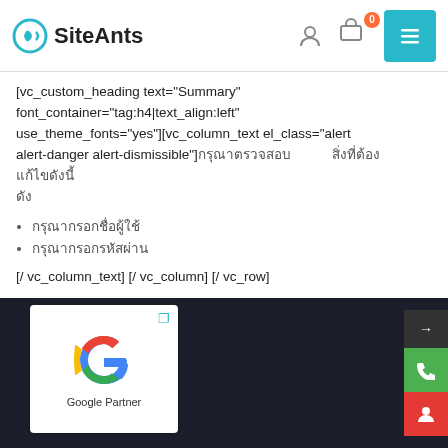SiteAnts
[vc_custom_heading text="Summary" font_container="tag:h4|text_align:left" use_theme_fonts="yes"][vc_column_text el_class="alert alert-danger alert-dismissible"]กรุณาตรวจสอบ                  สิ่งที่ต้องแก้ไขดังนี้
กรุณากรอกชื่อผู้ใช้
กรุณากรอกรหัสผ่าน
[/ vc_column_text] [/ vc_column] [/ vc_row]
[Figure (logo): Google Partner logo badge]